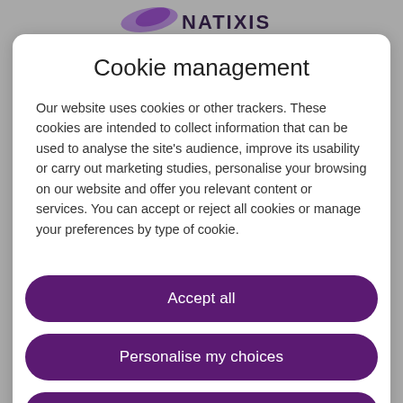[Figure (logo): Natixis logo with purple brush stroke and text NATIXIS in dark letters]
Cookie management
Our website uses cookies or other trackers. These cookies are intended to collect information that can be used to analyse the site's audience, improve its usability or carry out marketing studies, personalise your browsing on our website and offer you relevant content or services. You can accept or reject all cookies or manage your preferences by type of cookie.
Accept all
Personalise my choices
Reject all